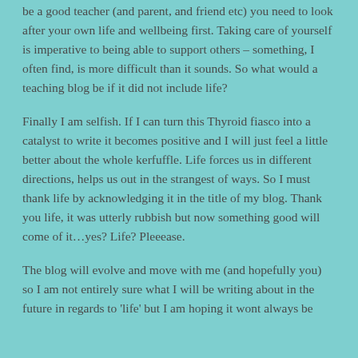be a good teacher (and parent, and friend etc) you need to look after your own life and wellbeing first. Taking care of yourself is imperative to being able to support others – something, I often find, is more difficult than it sounds. So what would a teaching blog be if it did not include life?
Finally I am selfish. If I can turn this Thyroid fiasco into a catalyst to write it becomes positive and I will just feel a little better about the whole kerfuffle. Life forces us in different directions, helps us out in the strangest of ways. So I must thank life by acknowledging it in the title of my blog. Thank you life, it was utterly rubbish but now something good will come of it…yes? Life? Pleeease.
The blog will evolve and move with me (and hopefully you) so I am not entirely sure what I will be writing about in the future in regards to 'life' but I am hoping it wont always be